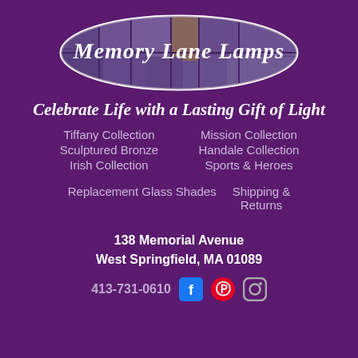[Figure (logo): Memory Lane Lamps oval logo with stained glass background and cursive white text]
Celebrate Life with a Lasting Gift of Light
Tiffany Collection
Mission Collection
Sculptured Bronze
Handale Collection
Irish Collection
Sports & Heroes
Replacement Glass Shades
Shipping & Returns
138 Memorial Avenue
West Springfield, MA 01089
413-731-0610